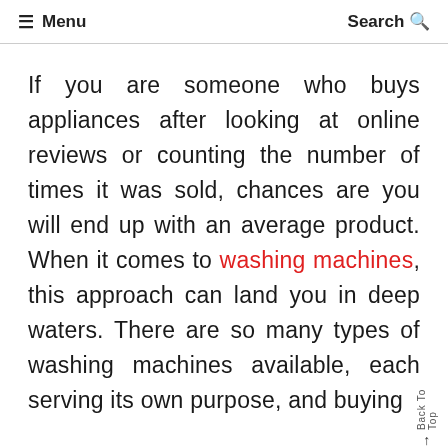≡ Menu   Search 🔍
If you are someone who buys appliances after looking at online reviews or counting the number of times it was sold, chances are you will end up with an average product. When it comes to washing machines, this approach can land you in deep waters. There are so many types of washing machines available, each serving its own purpose, and buying